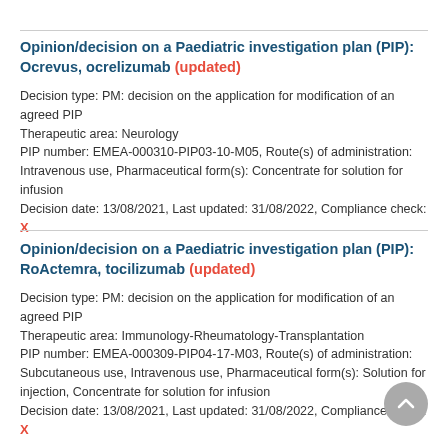Opinion/decision on a Paediatric investigation plan (PIP): Ocrevus, ocrelizumab (updated)
Decision type: PM: decision on the application for modification of an agreed PIP
Therapeutic area: Neurology
PIP number: EMEA-000310-PIP03-10-M05, Route(s) of administration: Intravenous use, Pharmaceutical form(s): Concentrate for solution for infusion
Decision date: 13/08/2021, Last updated: 31/08/2022, Compliance check: X
Opinion/decision on a Paediatric investigation plan (PIP): RoActemra, tocilizumab (updated)
Decision type: PM: decision on the application for modification of an agreed PIP
Therapeutic area: Immunology-Rheumatology-Transplantation
PIP number: EMEA-000309-PIP04-17-M03, Route(s) of administration: Subcutaneous use, Intravenous use, Pharmaceutical form(s): Solution for injection, Concentrate for solution for infusion
Decision date: 13/08/2021, Last updated: 31/08/2022, Compliance check: X